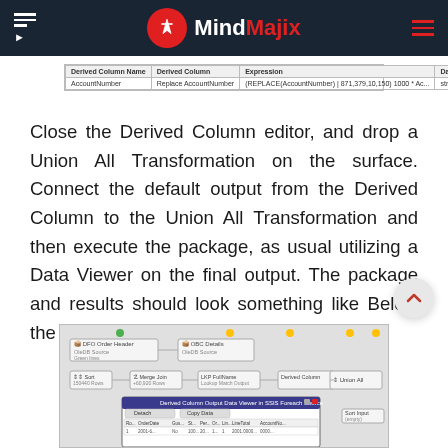MindMajix
[Figure (screenshot): Derived Column editor screenshot showing columns: Derived Column Name (AccountNumber), Derived Column (Replace AccountNumber), Expression, Data Type (string DT_STR)]
Close the Derived Column editor, and drop a Union All Transformation on the surface. Connect the default output from the Derived Column to the Union All Transformation and then execute the package, as usual utilizing a Data Viewer on the final output. The package and results should look something like Below the screenshot.
[Figure (screenshot): SSIS package design surface showing DFO Order Header, OBC Details, Sort, Merge Join, LKP FullName, Lookup Match Output, Derived Column transformations connected together, with a Derived Column Output Data Viewer dialog open at the bottom showing tabular results]